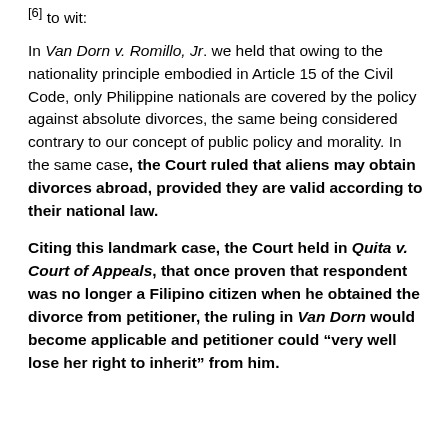[6] to wit:
In Van Dorn v. Romillo, Jr. we held that owing to the nationality principle embodied in Article 15 of the Civil Code, only Philippine nationals are covered by the policy against absolute divorces, the same being considered contrary to our concept of public policy and morality. In the same case, the Court ruled that aliens may obtain divorces abroad, provided they are valid according to their national law.
Citing this landmark case, the Court held in Quita v. Court of Appeals, that once proven that respondent was no longer a Filipino citizen when he obtained the divorce from petitioner, the ruling in Van Dorn would become applicable and petitioner could "very well lose her right to inherit" from him.